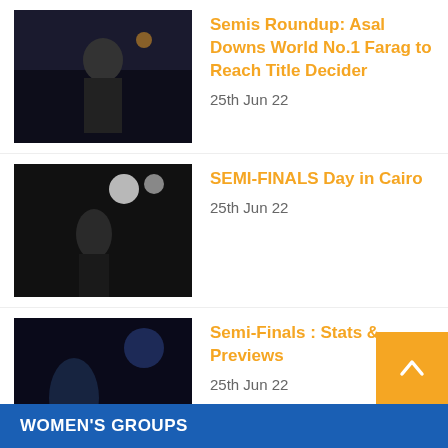Semis Roundup: Asal Downs World No.1 Farag to Reach Title Decider
25th Jun 22
SEMI-FINALS Day in Cairo
25th Jun 22
Semi-Finals : Stats & Previews
25th Jun 22
Day 4 Roundup: Sobhy Becomes First US-Born Player To Reach Semis
24th Jun 22
WOMEN'S GROUPS